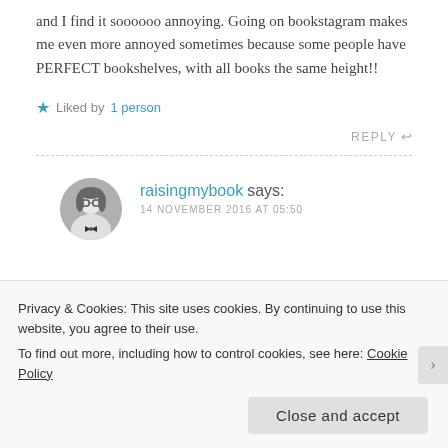and I find it soooooo annoying. Going on bookstagram makes me even more annoyed sometimes because some people have PERFECT bookshelves, with all books the same height!!
★ Liked by 1 person
REPLY ↩
raisingmybook says:
14 NOVEMBER 2016 AT 05:50
Privacy & Cookies: This site uses cookies. By continuing to use this website, you agree to their use.
To find out more, including how to control cookies, see here: Cookie Policy